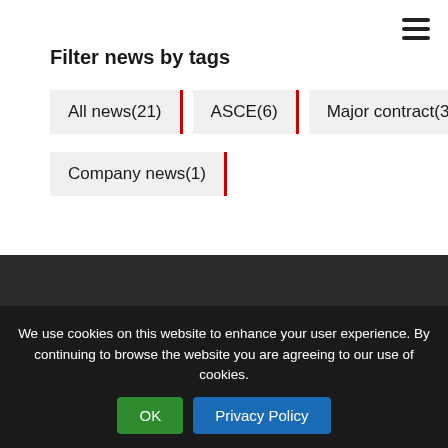Filter news by tags
All news(21)
ASCE(6)
Major contract(3)
Company news(1)
We use cookies on this website to enhance your user experience. By continuing to browse the website you are agreeing to our use of cookies.
OK
Privacy Policy